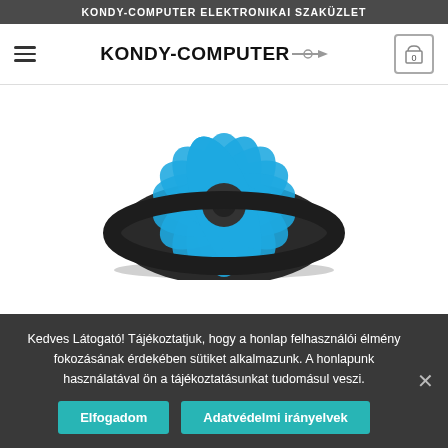KONDY-COMPUTER ELEKTRONIKAI SZAKÜZLET
[Figure (logo): KONDY-COMPUTER logo with cable/arrow graphic]
[Figure (photo): Blue and black CPU cooling fan viewed from above, low-profile round design with curved blue blades on black base, on white background]
Kedves Látogató! Tájékoztatjuk, hogy a honlap felhasználói élmény fokozásának érdekében sütiket alkalmazunk. A honlapunk használatával ön a tájékoztatásunkat tudomásul veszi.
Elfogadom
Adatvédelmi irányelvek